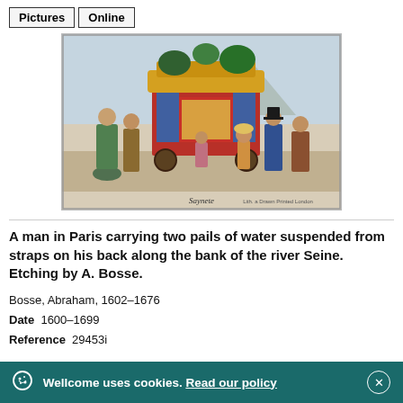Pictures  Online
[Figure (illustration): A coloured etching showing a decorative street organ or cart surrounded by people in 19th-century dress, with mountains in the background. Caption text at the bottom reads 'Saynete' and a publisher imprint.]
A man in Paris carrying two pails of water suspended from straps on his back along the bank of the river Seine. Etching by A. Bosse.
Bosse, Abraham, 1602–1676
Date  1600–1699
Reference  29453i
Wellcome uses cookies. Read our policy  ×